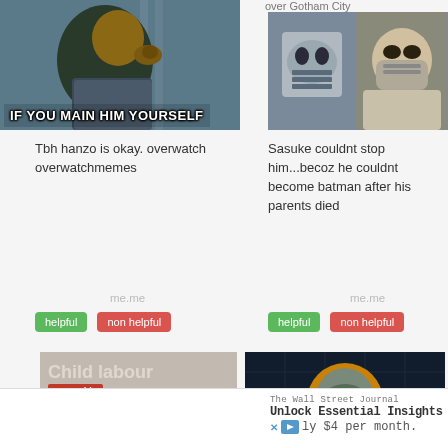[Figure (photo): Man touching temple thinking meme with text overlay: IF YOU MAIN HIM YOURSELF]
[Figure (photo): Two images side by side: anime masked character and Bane from Batman. Caption: over Gotham City]
Tbh hanzo is okay. overwatch overwatchmemes
Sasuke couldnt stop him...becoz he couldnt become batman after his parents died
me.me
me.me
[Figure (illustration): Child labour meme: stick figures with 1st World badge]
[Figure (photo): Genji from Overwatch helmet close-up on dark background]
The Wall Street Journal
Unlock Essential Insights for Students.
ly $4 per month.